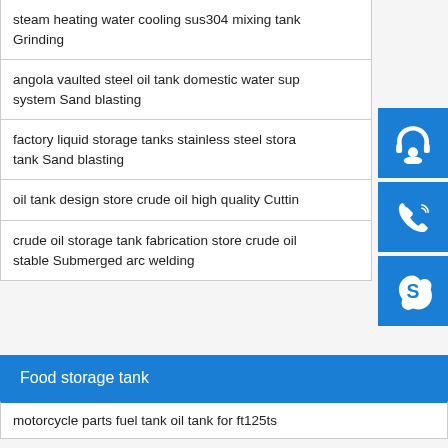steam heating water cooling sus304 mixing tank Grinding
angola vaulted steel oil tank domestic water supply system Sand blasting
factory liquid storage tanks stainless steel storage tank Sand blasting
oil tank design store crude oil high quality Cutting
crude oil storage tank fabrication store crude oil stable Submerged arc welding
Food storage tank
motorcycle parts fuel tank oil tank for ft125ts